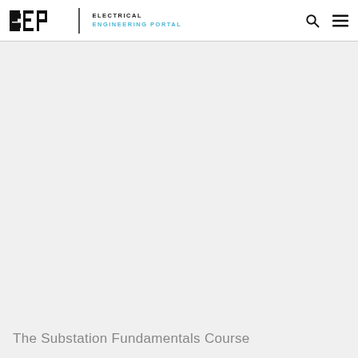EEP | Electrical Engineering Portal
The Substation Fundamentals Course